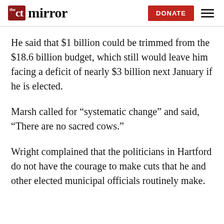the CT mirror | DONATE
He said that $1 billion could be trimmed from the $18.6 billion budget, which still would leave him facing a deficit of nearly $3 billion next January if he is elected.
Marsh called for “systematic change” and said, “There are no sacred cows.”
Wright complained that the politicians in Hartford do not have the courage to make cuts that he and other elected municipal officials routinely make.